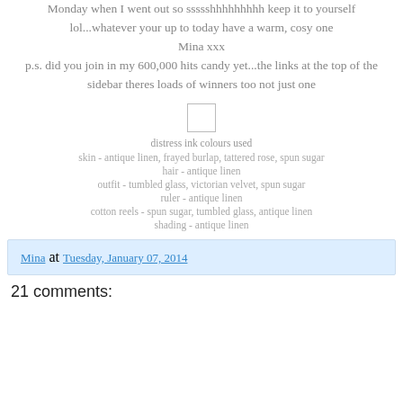Monday when I went out so ssssshhhhhhhhh keep it to yourself lol...whatever your up to today have a warm, cosy one
Mina xxx
p.s. did you join in my 600,000 hits candy yet...the links at the top of the sidebar theres loads of winners too not just one
[Figure (other): Small square image placeholder with light border]
distress ink colours used
skin - antique linen, frayed burlap, tattered rose, spun sugar
hair - antique linen
outfit - tumbled glass, victorian velvet, spun sugar
ruler - antique linen
cotton reels - spun sugar, tumbled glass, antique linen
shading - antique linen
Mina at Tuesday, January 07, 2014
21 comments: